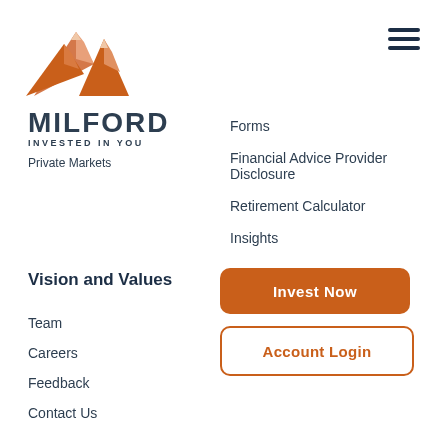[Figure (logo): Milford mountain logo — orange/peach layered mountain peaks SVG illustration]
MILFORD
INVESTED IN YOU
Private Markets
[Figure (other): Hamburger menu icon — three dark horizontal lines]
Forms
Financial Advice Provider Disclosure
Retirement Calculator
Insights
Vision and Values
Team
Careers
Feedback
Contact Us
Invest Now
Account Login